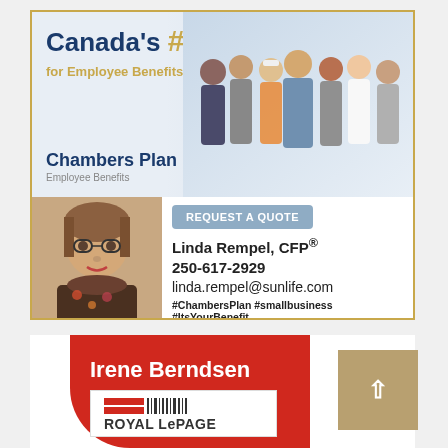[Figure (infographic): Chambers Plan Employee Benefits ad card showing group of diverse workers, text: Canada's #1 Plan for Employee Benefits, Chambers Plan Employee Benefits logo]
REQUEST A QUOTE
Linda Rempel, CFP®
250-617-2929
linda.rempel@sunlife.com
#ChambersPlan #smallbusiness #ItsYourBenefit
[Figure (infographic): Royal LePage agent card for Irene Berndsen with red swoosh shape and Royal LePage logo]